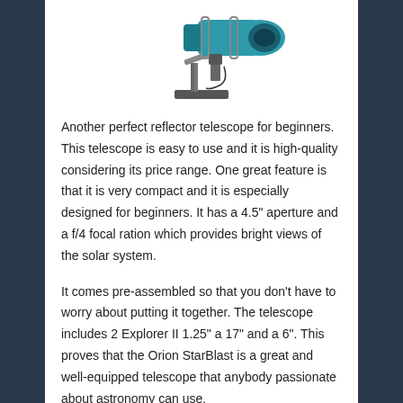[Figure (photo): Partial image of a reflector telescope with teal/blue tube on a mount, cropped at top of page]
Another perfect reflector telescope for beginners. This telescope is easy to use and it is high-quality considering its price range. One great feature is that it is very compact and it is especially designed for beginners. It has a 4.5" aperture and a f/4 focal ration which provides bright views of the solar system.
It comes pre-assembled so that you don't have to worry about putting it together. The telescope includes 2 Explorer II 1.25" a 17" and a 6". This proves that the Orion StarBlast is a great and well-equipped telescope that anybody passionate about astronomy can use.
3. Celestron PowerSeeker 76 AZ